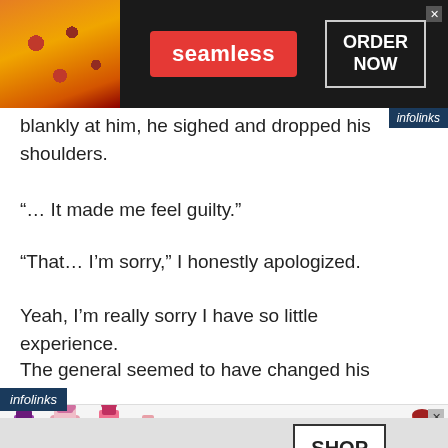[Figure (screenshot): Seamless food delivery advertisement banner with pizza image, red Seamless logo button, and ORDER NOW box on dark background]
blankly at him, he sighed and dropped his shoulders.
“… It made me feel guilty.”
“That… I’m sorry,” I honestly apologized.
Yeah, I’m really sorry I have so little experience.
The general seemed to have changed his mind,
[Figure (screenshot): M·A·C cosmetics advertisement with lipsticks image and SHOP NOW box]